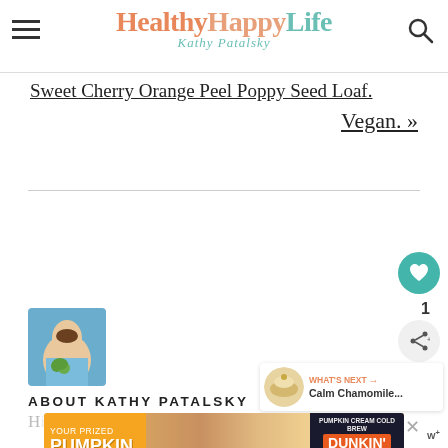HealthyHappyLife — Kathy Patalsky
Sweet Cherry Orange Peel Poppy Seed Loaf. Vegan. »
[Figure (photo): Author photo of Kathy Patalsky holding green apples against a blue background]
[Figure (infographic): What's Next section with thumbnail of Calm Chamomile drink]
ABOUT KATHY PATALSKY
[Figure (photo): Advertisement banner: Your Prized Pumpkin - Pumpkin Cream Cold Brew Dunkin' Order Now]